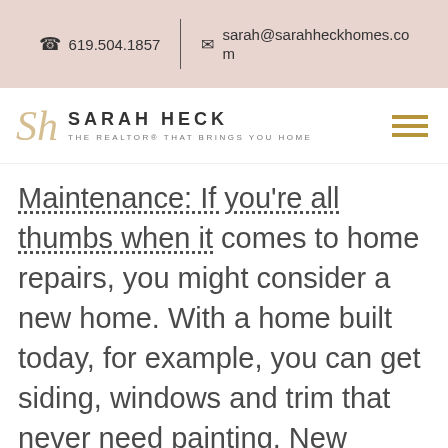619.504.1857  |  sarah@sarahheckhomes.com
[Figure (logo): Sarah Heck logo with SH monogram and tagline 'THE REALTOR® THAT BRINGS YOU HOME']
Maintenance: If you're all thumbs when it comes to home repairs, you might consider a new home. With a home built today, for example, you can get siding, windows and trim that never need painting. New homes even have wood decks made of pressure-treated lumber to resist rot and pests.